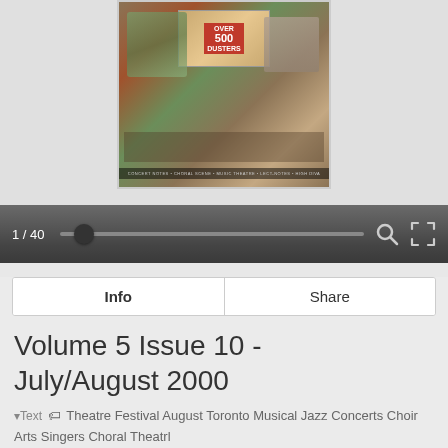[Figure (photo): Book or magazine cover thumbnail showing 'Over 500' text in red on a collage background with people and landscape imagery]
1 / 40
Info   Share
Volume 5 Issue 10 - July/August 2000
Text  Theatre Festival August Toronto Musical Jazz Concerts Choir Arts Singers Choral Theatrl